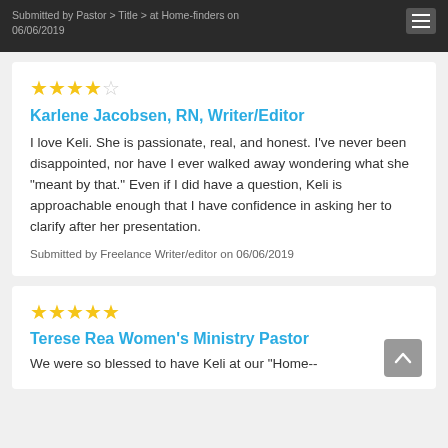Submitted by Pastor > Title > at Home-finders on 06/06/2019
Karlene Jacobsen, RN, Writer/Editor
I love Keli. She is passionate, real, and honest. I've never been disappointed, nor have I ever walked away wondering what she "meant by that." Even if I did have a question, Keli is approachable enough that I have confidence in asking her to clarify after her presentation.
Submitted by Freelance Writer/editor on 06/06/2019
Terese Rea Women's Ministry Pastor
We were so blessed to have Keli at our "Home--